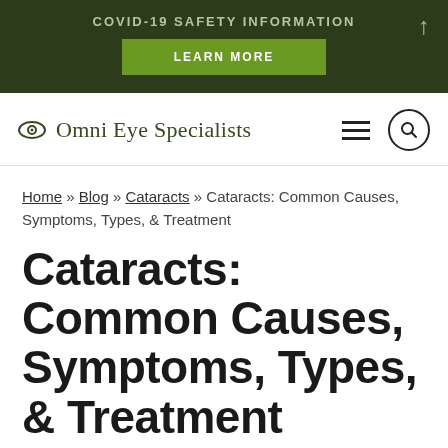COVID-19 SAFETY INFORMATION
LEARN MORE
[Figure (logo): Omni Eye Specialists logo with eye icon, hamburger menu, and search icon navigation bar]
Home » Blog » Cataracts » Cataracts: Common Causes, Symptoms, Types, & Treatment
Cataracts: Common Causes, Symptoms, Types, & Treatment
Posted by Omni Eye Specialists in Cataracts |